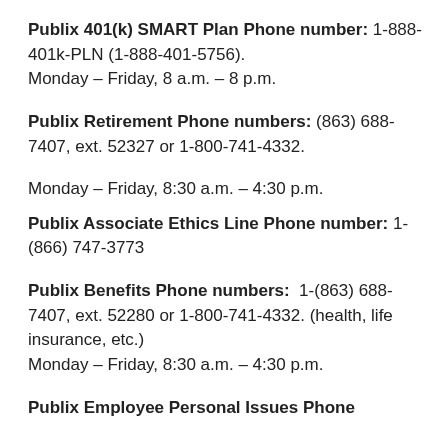Publix 401(k) SMART Plan Phone number: 1-888-401k-PLN (1-888-401-5756).
Monday – Friday, 8 a.m. – 8 p.m.
Publix Retirement Phone numbers: (863) 688-7407, ext. 52327 or 1-800-741-4332.
Monday – Friday, 8:30 a.m. – 4:30 p.m.
Publix Associate Ethics Line Phone number: 1-(866) 747-3773
Publix Benefits Phone numbers: 1-(863) 688-7407, ext. 52280 or 1-800-741-4332. (health, life insurance, etc.)
Monday – Friday, 8:30 a.m. – 4:30 p.m.
Publix Employee Personal Issues Phone